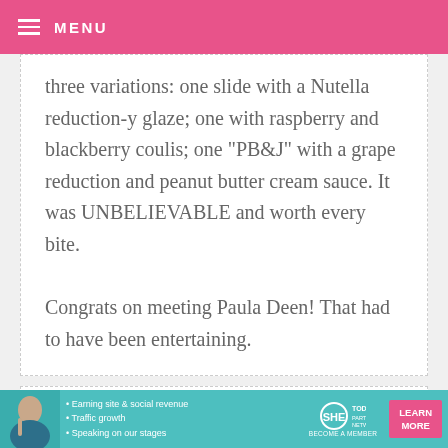MENU
three variations: one slide with a Nutella reduction-y glaze; one with raspberry and blackberry coulis; one "PB&J" with a grape reduction and peanut butter cream sauce. It was UNBELIEVABLE and worth every bite.

Congrats on meeting Paula Deen! That had to have been entertaining.
COURTNEY — APRIL 20, 2009 @ 7:00 AM  REPLY
[Figure (infographic): SHE Partner Network advertisement banner with photo of a woman, bullet points about earning site & social revenue, traffic growth, speaking on stages, SHE logo, and a Learn More button.]